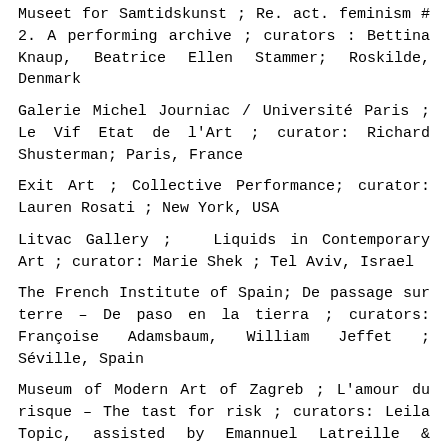Museet for Samtidskunst ; Re. act. feminism # 2. A performing archive ; curators : Bettina Knaup, Beatrice Ellen Stammer; Roskilde, Denmark
Galerie Michel Journiac / Université Paris ; Le Vif Etat de l'Art ; curator: Richard Shusterman; Paris, France
Exit Art ; Collective Performance; curator: Lauren Rosati ; New York, USA
Litvac Gallery ;  Liquids in Contemporary Art ; curator: Marie Shek ; Tel Aviv, Israel
The French Institute of Spain; De passage sur terre – De paso en la tierra ; curators: Françoise Adamsbaum, William Jeffet ; Séville, Spain
Museum of Modern Art of Zagreb ; L'amour du risque – The tast for risk ; curators: Leila Topic, assisted by Emannuel Latreille & Pascal Neveux; Zagreb, Croatia
Mvze Art Institute ; Re. act. feminism # 2. a performing